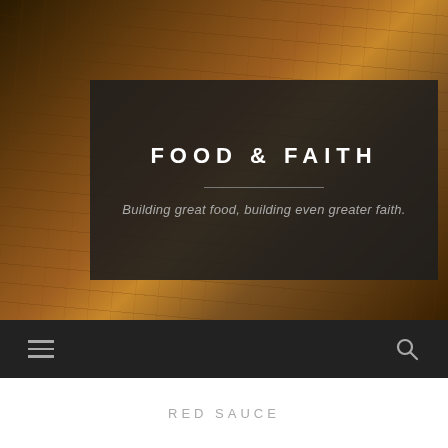[Figure (photo): Background photo of food items on a wooden cutting board including eggs, onion, fruit, and kitchen utensils]
FOOD & FAITH
Building great food, building even greater faith.
RED SAUCE
Follow   ...